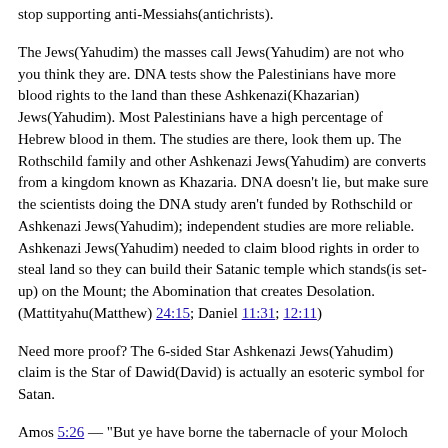stop supporting anti-Messiahs(antichrists).
The Jews(Yahudim) the masses call Jews(Yahudim) are not who you think they are. DNA tests show the Palestinians have more blood rights to the land than these Ashkenazi(Khazarian) Jews(Yahudim). Most Palestinians have a high percentage of Hebrew blood in them. The studies are there, look them up. The Rothschild family and other Ashkenazi Jews(Yahudim) are converts from a kingdom known as Khazaria. DNA doesn't lie, but make sure the scientists doing the DNA study aren't funded by Rothschild or Ashkenazi Jews(Yahudim); independent studies are more reliable. Ashkenazi Jews(Yahudim) needed to claim blood rights in order to steal land so they can build their Satanic temple which stands(is set-up) on the Mount; the Abomination that creates Desolation. (Mattityahu(Matthew) 24:15; Daniel 11:31; 12:11)
Need more proof? The 6-sided Star Ashkenazi Jews(Yahudim) claim is the Star of Dawid(David) is actually an esoteric symbol for Satan.
Amos 5:26 — "But ye have borne the tabernacle of your Moloch and Chiun your images, the star of your god, which ye made to yourselves."